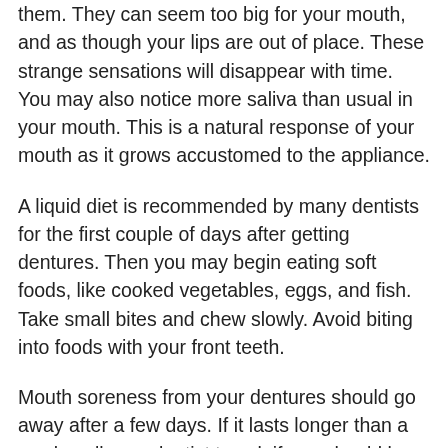them. They can seem too big for your mouth, and as though your lips are out of place. These strange sensations will disappear with time. You may also notice more saliva than usual in your mouth. This is a natural response of your mouth as it grows accustomed to the appliance.
A liquid diet is recommended by many dentists for the first couple of days after getting dentures. Then you may begin eating soft foods, like cooked vegetables, eggs, and fish. Take small bites and chew slowly. Avoid biting into foods with your front teeth.
Mouth soreness from your dentures should go away after a few days. If it lasts longer than a week, call your dentist to ask if you should be seen. You may experience minor mouth sores for the first couple of weeks that you wear